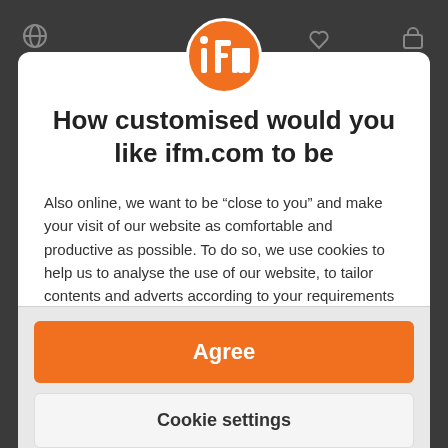[Figure (logo): IFM orange circular logo with white 'ifm' text]
How customised would you like ifm.com to be
Also online, we want to be “close to you” and make your visit of our website as comfortable and productive as possible. To do so, we use cookies to help us to analyse the use of our website, to tailor contents and adverts according to your requirements and to offer you social media functions. We also cooperate with third parties to whom we provide data to this end.
Agree
Cookie settings